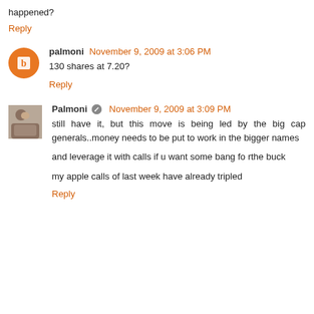happened?
Reply
palmoni November 9, 2009 at 3:06 PM
130 shares at 7.20?
Reply
Palmoni November 9, 2009 at 3:09 PM
still have it, but this move is being led by the big cap generals..money needs to be put to work in the bigger names

and leverage it with calls if u want some bang fo rthe buck

my apple calls of last week have already tripled
Reply